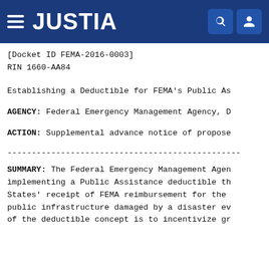JUSTIA
[Docket ID FEMA-2016-0003]
RIN 1660-AA84
Establishing a Deductible for FEMA's Public As
AGENCY: Federal Emergency Management Agency, D
ACTION: Supplemental advance notice of propose
------------------------------------------------------------------------
SUMMARY: The Federal Emergency Management Agen implementing a Public Assistance deductible th States' receipt of FEMA reimbursement for the public infrastructure damaged by a disaster ev of the deductible concept is to incentivize gr